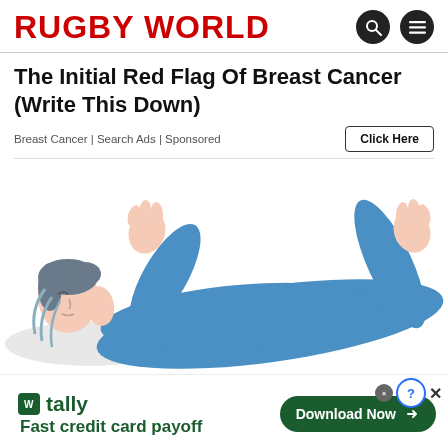RUGBY WORLD
The Initial Red Flag Of Breast Cancer (Write This Down)
Breast Cancer | Search Ads | Sponsored
[Figure (illustration): Illustration of a person in blue clothing lying down with arms raised, rendered in flat cartoon style with light skin tone.]
[Figure (infographic): Tally app advertisement banner: 'Fast credit card payoff' with green Download Now button and close/question icons.]